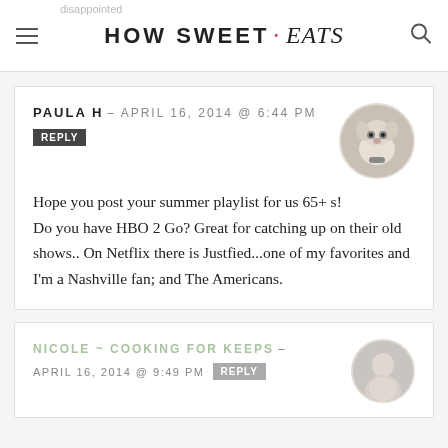HOW SWEET • eats
PAULA H — APRIL 16, 2014 @ 6:44 PM
REPLY
Hope you post your summer playlist for us 65+ s!
Do you have HBO 2 Go? Great for catching up on their old shows.. On Netflix there is Justfied...one of my favorites and I'm a Nashville fan; and The Americans.
NICOLE ~ COOKING FOR KEEPS — APRIL 16, 2014 @ 9:49 PM
REPLY